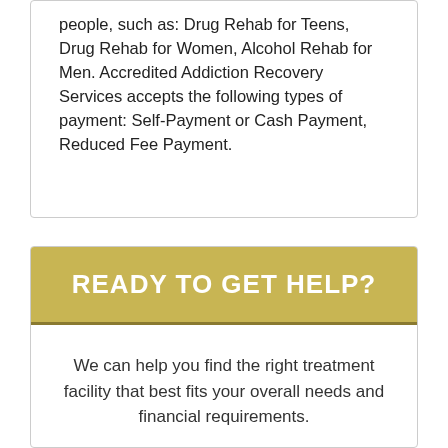people, such as: Drug Rehab for Teens, Drug Rehab for Women, Alcohol Rehab for Men. Accredited Addiction Recovery Services accepts the following types of payment: Self-Payment or Cash Payment, Reduced Fee Payment.
READY TO GET HELP?
We can help you find the right treatment facility that best fits your overall needs and financial requirements.